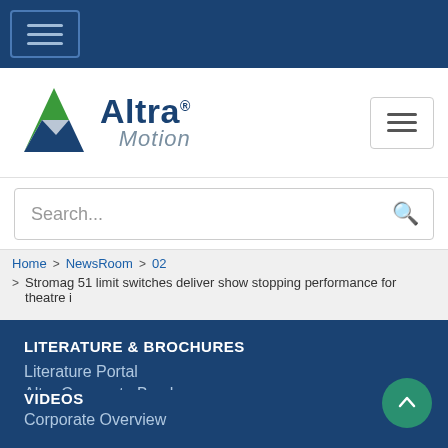[Figure (screenshot): Top dark blue navigation bar with hamburger menu button]
[Figure (logo): Altra Motion logo with green/blue arrow icon and company name]
[Figure (screenshot): Search input bar with search icon]
Home > NewsRoom > 02 > Stromag 51 limit switches deliver show stopping performance for theatre i
LITERATURE & BROCHURES
Literature Portal
Altra Corporate Brochure
Power Review
VIDEOS
Corporate Overview